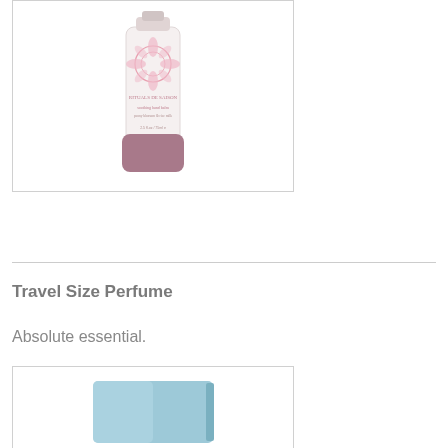[Figure (photo): Product photo of a hand balm tube with pink floral design and mauve/dusty rose cap, labeled 'soothing hand balm' by Rituals de Saison]
Travel Size Perfume
Absolute essential.
[Figure (photo): Partial product photo of a light blue rectangular perfume box/packaging at the bottom of the page]